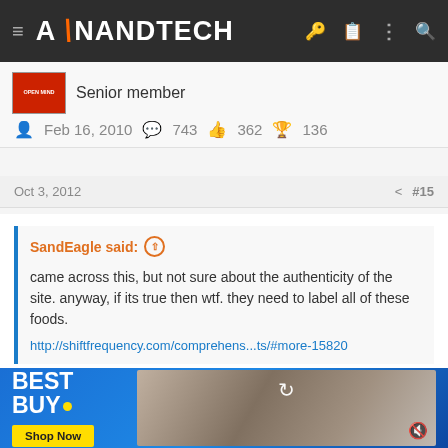AnandTech
Senior member
Feb 16, 2010   743   362   136
Oct 3, 2012   #15
SandEagle said: ↑
came across this, but not sure about the authenticity of the site. anyway, if its true then wtf. they need to label all of these foods.
http://shiftfrequency.com/comprehens...ts/#more-15820
[Figure (screenshot): Best Buy advertisement with blue background, Best Buy logo, Shop Now button, and photo of person in office setting with refresh icon overlay]